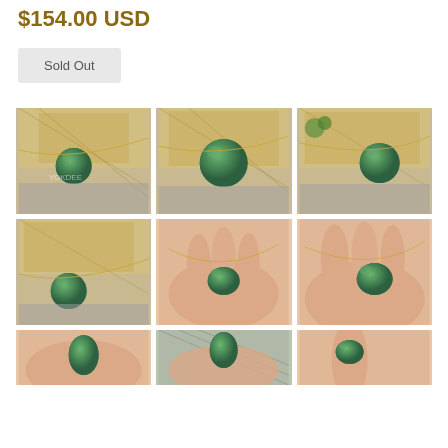$154.00 USD
Sold Out
[Figure (photo): Grid of 9 product photos showing a green jade ball pendant necklace on a gold chain, displayed on wooden blocks and modeled on a hand]
[Figure (photo): Row 3 partially visible: jade pendant on hand, jade pendant on hand close-up, jade pendant on hand another angle]